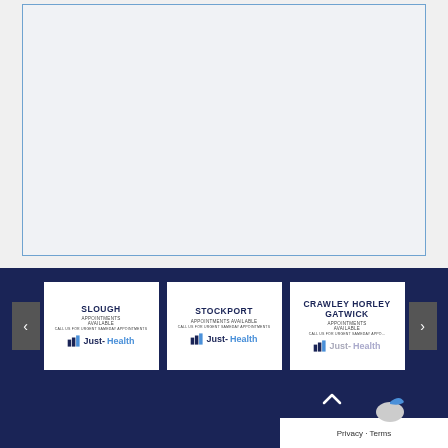[Figure (other): Large empty content area with light blue border on grey background]
[Figure (other): Carousel section with dark navy background showing three Just-Health clinic location cards: Slough, Stockport, and Crawley Horley Gatwick, with left and right navigation arrows]
SLOUGH
APPOINTMENTS AVAILABLE
CALL US FOR URGENT SAMEDAY APPOINTMENTS
[Figure (logo): Just-Health logo with JH icon]
STOCKPORT
APPOINTMENTS AVAILABLE
CALL US FOR URGENT SAMEDAY APPOINTMENTS
[Figure (logo): Just-Health logo with JH icon]
CRAWLEY HORLEY GATWICK
APPOINTMENTS AVAILABLE
CALL US FOR URGENT SAMEDAY APPOINTMENTS
[Figure (logo): Just-Health logo with JH icon (partially obscured)]
Privacy · Terms